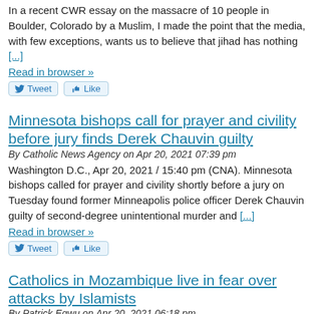In a recent CWR essay on the massacre of 10 people in Boulder, Colorado by a Muslim, I made the point that the media, with few exceptions, wants us to believe that jihad has nothing [...]
Read in browser »
Minnesota bishops call for prayer and civility before jury finds Derek Chauvin guilty
By Catholic News Agency on Apr 20, 2021 07:39 pm
Washington D.C., Apr 20, 2021 / 15:40 pm (CNA). Minnesota bishops called for prayer and civility shortly before a jury on Tuesday found former Minneapolis police officer Derek Chauvin guilty of second-degree unintentional murder and [...]
Read in browser »
Catholics in Mozambique live in fear over attacks by Islamists
By Patrick Egwu on Apr 20, 2021 06:18 pm
Religious extremism is taking a toll on the Catholic community in